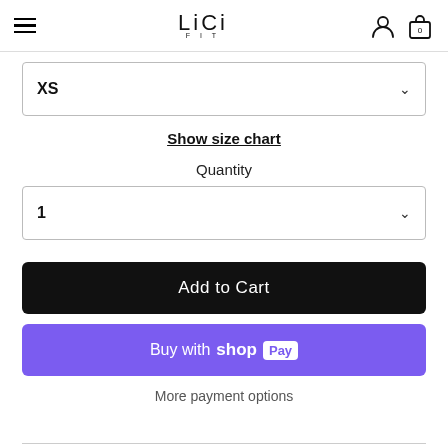LiCi FIT
XS
Show size chart
Quantity
1
Add to Cart
Buy with shop Pay
More payment options